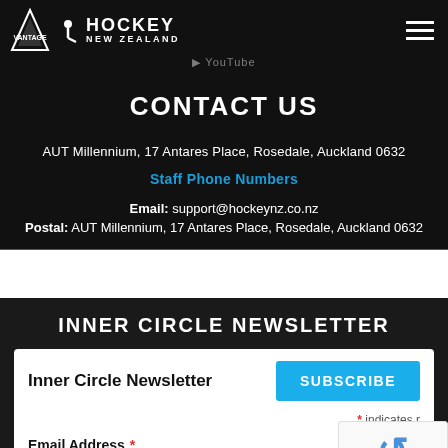[Figure (logo): Vantage Hockey New Zealand logo with triangle emblem and hockey player silhouette]
CONTACT US
AUT Millennium, 17 Antares Place, Rosedale, Auckland 0632
Staff Phone Numbers
Email: support@hockeynz.co.nz
Postal: AUT Millennium, 17 Antares Place, Rosedale, Auckland 0632
INNER CIRCLE NEWSLETTER
Inner Circle Newsletter
* indicates required
Email Address *